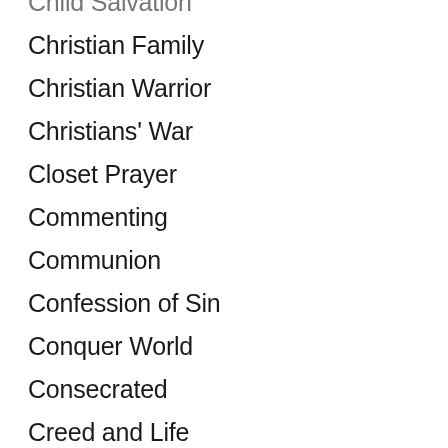Child Salvation
Christian Family
Christian Warrior
Christians' War
Closet Prayer
Commenting
Communion
Confession of Sin
Conquer World
Consecrated
Creed and Life
Crown & Glory
David Brainerd
David's Prayer
Days of Revival